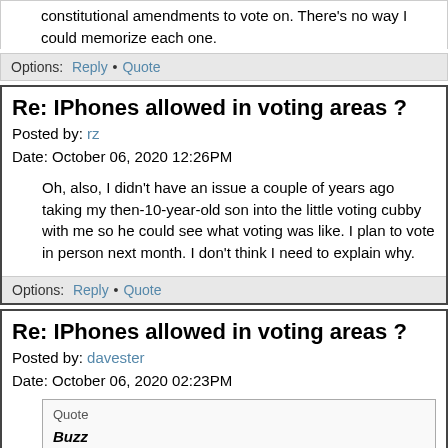constitutional amendments to vote on. There's no way I could memorize each one.
Options: Reply • Quote
Re: IPhones allowed in voting areas ?
Posted by: rz
Date: October 06, 2020 12:26PM
Oh, also, I didn't have an issue a couple of years ago taking my then-10-year-old son into the little voting cubby with me so he could see what voting was like. I plan to vote in person next month. I don't think I need to explain why.
Options: Reply • Quote
Re: IPhones allowed in voting areas ?
Posted by: davester
Date: October 06, 2020 02:23PM
Quote
Buzz
I can't imagine there being a problem here w/ taking a pic of your own ballot. ==
Traditionally that's been a big issue because it could facilitate coercion. People who were coerced into voting a certain way would be required to take a photo of their ballot to provide proof to the person doing the coercion that they voted the way they were told to.